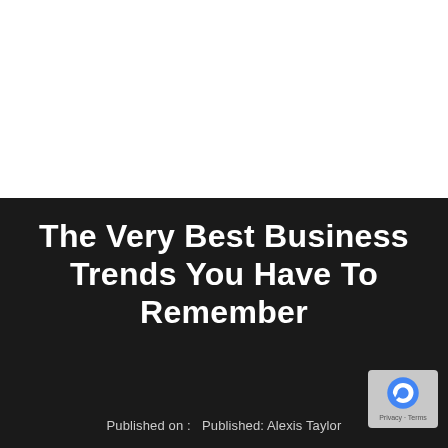[Figure (photo): White background image area in the top half of the page]
The Very Best Business Trends You Have To Remember
Published on :   Published: Alexis Taylor